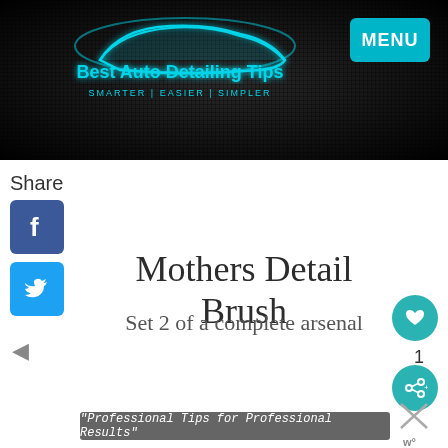[Figure (logo): Best Auto Detailing Tips logo with teal car silhouette on dark background, text reads 'Best Auto Detailing Tips - SMARTER | EASIER | SIMPLER']
Share
[Figure (illustration): Facebook share icon button (blue square with white f)]
[Figure (illustration): Twitter share icon button (blue square with white bird)]
Mothers Detail Brush
Set 2 of a complete arsenal
[Figure (illustration): Teal heart/love button icon]
1
[Figure (illustration): Teal share button icon]
"Professional Tips for Professional Results"
[Figure (illustration): Close/X button icon and W logo mark]